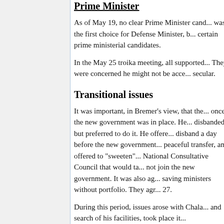Prime Minister
As of May 19, no clear Prime Minister candidate was the first choice for Defense Minister, but certain prime ministerial candidates.
In the May 25 troika meeting, all supported They were concerned he might not be acceptable secular.
Transitional issues
It was important, in Bremer's view, that the once the new government was in place. He disbanded, but preferred to do it. He offered disband a day before the new government peaceful transfer, and offered to "sweeten" National Consultative Council that would take not join the new government. It was also agreed saving ministers without portfolio. They agreed 27.
During this period, issues arose with Chala and search of his facilities, took place it